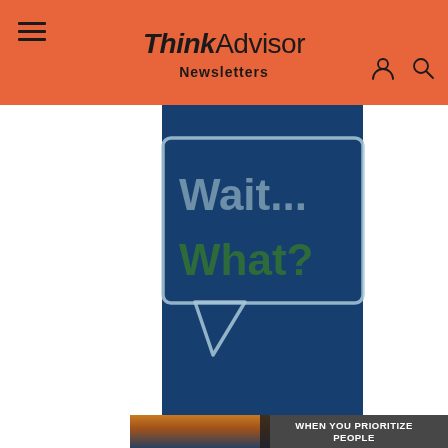ThinkAdvisor Newsletters
[Figure (illustration): Dark blue background panel with a speech bubble graphic containing text 'Wait... What?' in large bold fonts. 'Wait...' in light blue/grey color and 'What?' in dark green color. The speech bubble has a light blue outline on a dark navy background.]
[Figure (photo): Partial view of a person kayaking on water at sunset, with text overlay reading 'WHEN YOU PRIORITIZE PEOPLE']